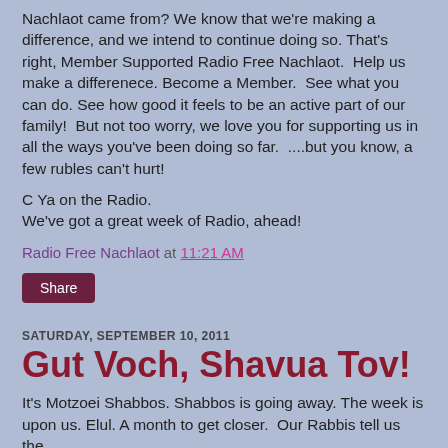Nachlaot came from? We know that we're making a difference, and we intend to continue doing so. That's right, Member Supported Radio Free Nachlaot.  Help us make a differenece. Become a Member.  See what you can do. See how good it feels to be an active part of our family!  But not too worry, we love you for supporting us in all the ways you've been doing so far.  ....but you know, a few rubles can't hurt!
C Ya on the Radio.
We've got a great week of Radio, ahead!
Radio Free Nachlaot at 11:21 AM
Share
SATURDAY, SEPTEMBER 10, 2011
Gut Voch, Shavua Tov!
It's Motzoei Shabbos. Shabbos is going away. The week is upon us. Elul. A month to get closer.  Our Rabbis tell us the